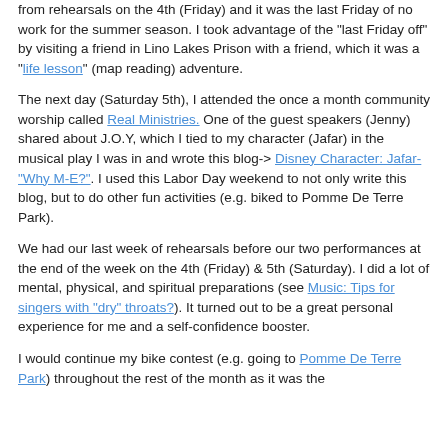from rehearsals on the 4th (Friday) and it was the last Friday of no work for the summer season. I took advantage of the "last Friday off" by visiting a friend in Lino Lakes Prison with a friend, which it was a "life lesson" (map reading) adventure.
The next day (Saturday 5th), I attended the once a month community worship called Real Ministries. One of the guest speakers (Jenny) shared about J.O.Y, which I tied to my character (Jafar) in the musical play I was in and wrote this blog-> Disney Character: Jafar-"Why M-E?". I used this Labor Day weekend to not only write this blog, but to do other fun activities (e.g. biked to Pomme De Terre Park).
We had our last week of rehearsals before our two performances at the end of the week on the 4th (Friday) & 5th (Saturday). I did a lot of mental, physical, and spiritual preparations (see Music: Tips for singers with "dry" throats?). It turned out to be a great personal experience for me and a self-confidence booster.
I would continue my bike contest (e.g. going to Pomme De Terre Park) throughout the rest of the month as it was the